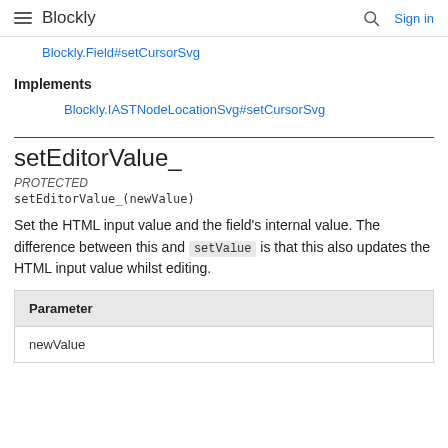Blockly  Sign in
Blockly.Field#setCursorSvg
Implements
Blockly.IASTNodeLocationSvg#setCursorSvg
setEditorValue_
PROTECTED
setEditorValue_(newValue)
Set the HTML input value and the field's internal value. The difference between this and setValue is that this also updates the HTML input value whilst editing.
| Parameter |
| --- |
| newValue |